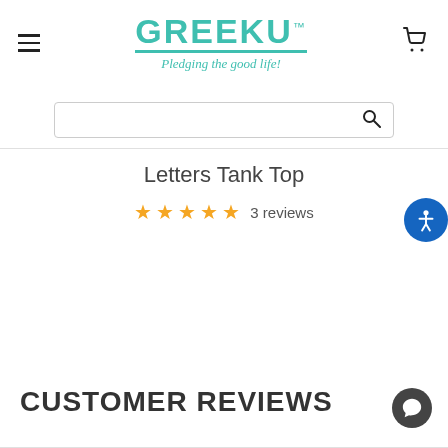[Figure (logo): GreekU logo with teal letters spelling GREEKU with a TM mark, underlined, and tagline 'Pledging the good life!' in cursive teal below]
Letters Tank Top
★★★★★ 3 reviews
CUSTOMER REVIEWS